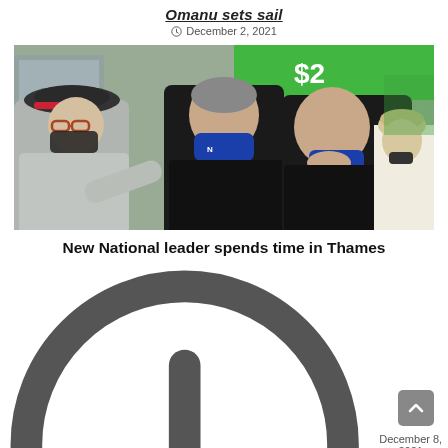Omanu sets sail
December 2, 2021
[Figure (photo): Three men standing outside a shop, two wearing face masks (one blue, one black), one partially removing his mask. A woman in the background wears a mask and cap. Colourful flowers visible in background.]
New National leader spends time in Thames
December 8, 2021
Recent Posts